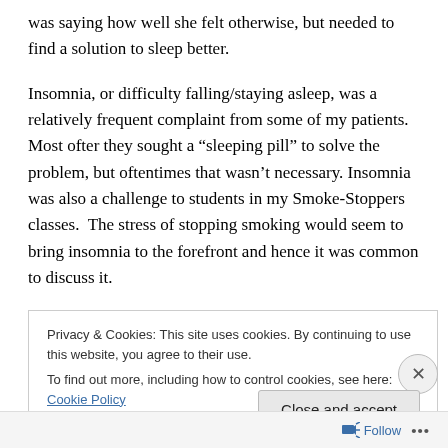was saying how well she felt otherwise, but needed to find a solution to sleep better.
Insomnia, or difficulty falling/staying asleep, was a relatively frequent complaint from some of my patients. Most ofter they sought a “sleeping pill” to solve the problem, but oftentimes that wasn’t necessary. Insomnia was also a challenge to students in my Smoke-Stoppers classes.  The stress of stopping smoking would seem to bring insomnia to the forefront and hence it was common to discuss it.
Privacy & Cookies: This site uses cookies. By continuing to use this website, you agree to their use.
To find out more, including how to control cookies, see here: Cookie Policy
Close and accept
Follow ...